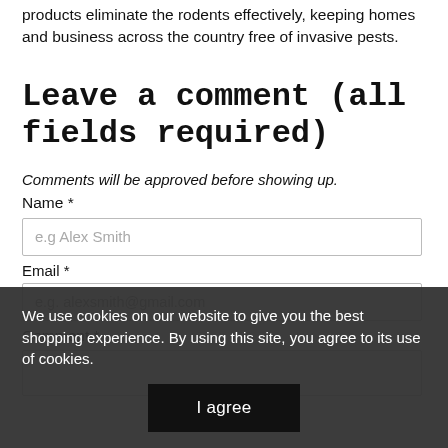products eliminate the rodents effectively, keeping homes and business across the country free of invasive pests.
Leave a comment (all fields required)
Comments will be approved before showing up.
Name *
e.g Alex Smith
Email *
e.g. alexsmith@gmail.com
Comment *
We use cookies on our website to give you the best shopping experience. By using this site, you agree to its use of cookies.
I agree